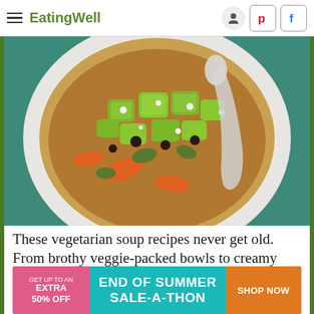EatingWell
[Figure (photo): Top-down view of a white bowl of vegetarian soup with avocado chunks, black beans, carrots, green vegetables, and crumbled cheese, with a silver spoon, on a teal cloth background.]
These vegetarian soup recipes never get old. From brothy veggie-packed bowls to creamy
[Figure (infographic): Advertisement banner: 'GET UP TO AN EXTRA 50% OFF' on pink background, 'END OF SUMMER SALE-A-THON' on teal background, 'SHOP NOW' button on orange background.]